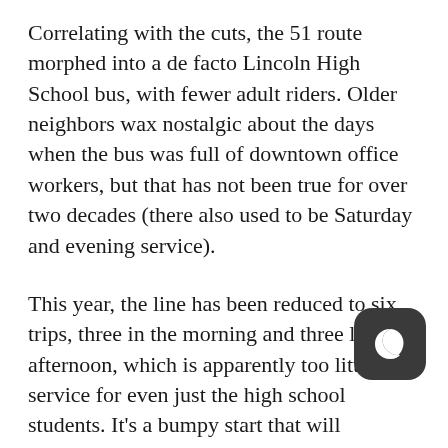Correlating with the cuts, the 51 route morphed into a de facto Lincoln High School bus, with fewer adult riders. Older neighbors wax nostalgic about the days when the bus was full of downtown office workers, but that has not been true for over two decades (there also used to be Saturday and evening service).
This year, the line has been reduced to six trips, three in the morning and three late afternoon, which is apparently too little service for even just the high school students. It's a bumpy start that will probably all get worked out over the next couple of weeks, but like a lot of other things the pandemic has made worse, the trends have be heading that way for over a decade. And if we want to create more low-car Portlanders and win the